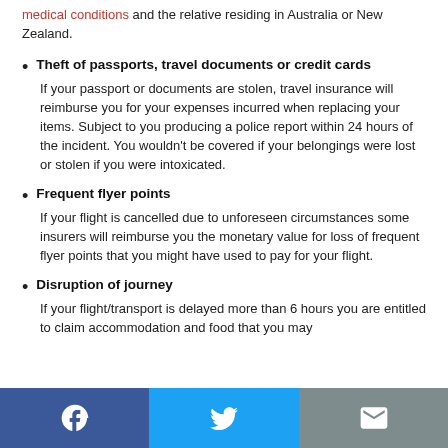medical conditions and the relative residing in Australia or New Zealand.
Theft of passports, travel documents or credit cards
If your passport or documents are stolen, travel insurance will reimburse you for your expenses incurred when replacing your items. Subject to you producing a police report within 24 hours of the incident. You wouldn't be covered if your belongings were lost or stolen if you were intoxicated.
Frequent flyer points
If your flight is cancelled due to unforeseen circumstances some insurers will reimburse you the monetary value for loss of frequent flyer points that you might have used to pay for your flight.
Disruption of journey
If your flight/transport is delayed more than 6 hours you are entitled to claim accommodation and food that you may
Facebook | Twitter | Email